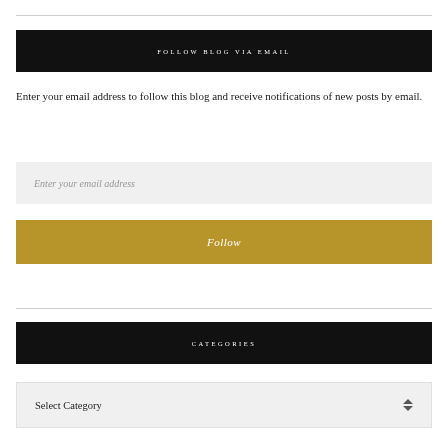FOLLOW BLOG VIA EMAIL
Enter your email address to follow this blog and receive notifications of new posts by email.
Enter your email address
Follow
CATEGORIES
Select Category